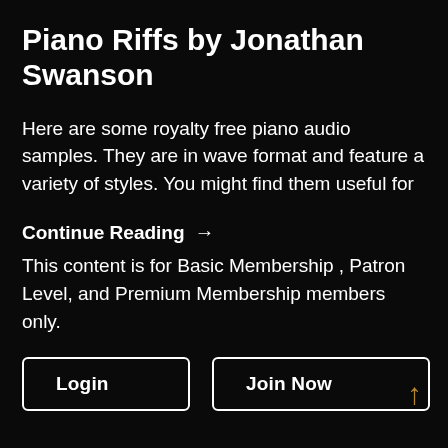Piano Riffs by Jonathan Swanson
Here are some royalty free piano audio samples. They are in wave format and feature a variety of styles. You might find them useful for
Continue Reading →
This content is for Basic Membership , Patron Level, and Premium Membership members only.
Login   Join Now